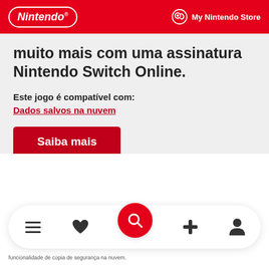Nintendo | My Nintendo Store
muito mais com uma assinatura Nintendo Switch Online.
Este jogo é compatível com:
Dados salvos na nuvem
Saiba mais
[Figure (screenshot): Bottom navigation bar with menu, heart/wishlist, search (red circle), gamepad/plus, and user/account icons]
funcionalidade de copia de segurança na nuvem.